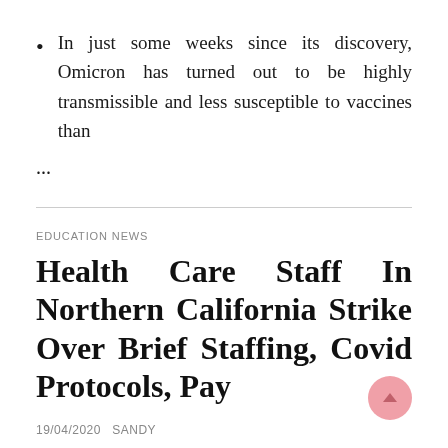In just some weeks since its discovery, Omicron has turned out to be highly transmissible and less susceptible to vaccines than
...
EDUCATION NEWS
Health Care Staff In Northern California Strike Over Brief Staffing, Covid Protocols, Pay
19/04/2020   SANDY